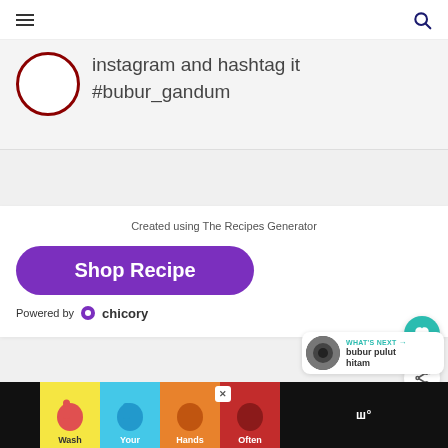Navigation bar with hamburger menu and search icon
instagram and hashtag it #bubur_gandum
Created using The Recipes Generator
Shop Recipe
Powered by chicory
WHAT'S NEXT → bubur pulut hitam
[Figure (infographic): Wash Your Hands Often advertisement banner with colorful hand-washing illustrations]